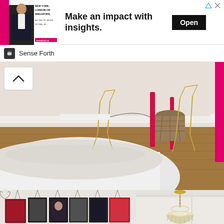[Figure (infographic): Advertisement banner: image of a man in suit with text 'NEW YORK, LONDON OR SINGAPORE,' on the left; large text 'Make an impact with insights.' in center; black 'Open' button on right; close/triangle icons top right. Sender: Sense Forth logo and name below.]
[Figure (photo): Interior bedroom photo showing white bed, gold/brass wire chairs, red chair legs, wicker basket, hardwood floor, white walls with baseboard.]
[Figure (photo): Interior wall with multiple framed photos/album covers hanging by wire clips in a gallery arrangement, against white wall.]
[Figure (photo): White interior corner with ceiling and a decorative glass chandelier hanging from the ceiling.]